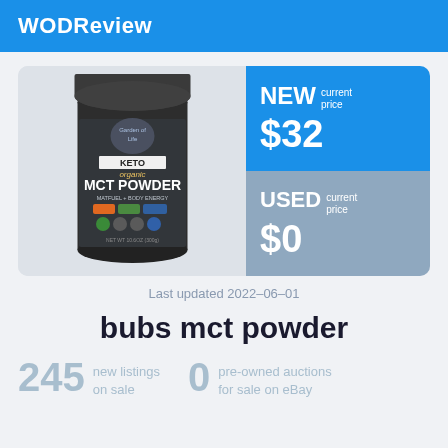WODReview
[Figure (photo): Dark grey cylindrical container of KETO organic MCT POWDER supplement by Garden of Life. Black lid, dark label with orange accent colors.]
NEW current price $32
USED current price $0
Last updated 2022-06-01
bubs mct powder
245 new listings on sale
0 pre-owned auctions for sale on eBay